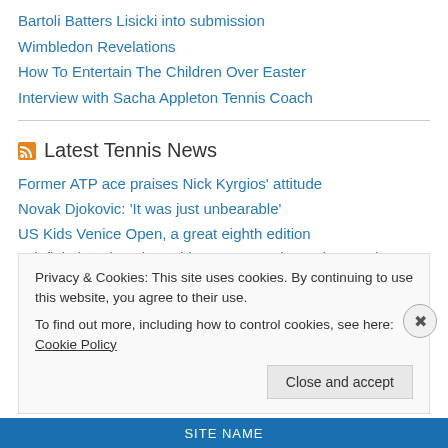Bartoli Batters Lisicki into submission
Wimbledon Revelations
How To Entertain The Children Over Easter
Interview with Sacha Appleton Tennis Coach
Latest Tennis News
Former ATP ace praises Nick Kyrgios' attitude
Novak Djokovic: 'It was just unbearable'
US Kids Venice Open, a great eighth edition
'I definitely enjoyed watching Roger Federer play tennis growing up', says ATP ace
Privacy & Cookies: This site uses cookies. By continuing to use this website, you agree to their use.
To find out more, including how to control cookies, see here: Cookie Policy
Close and accept